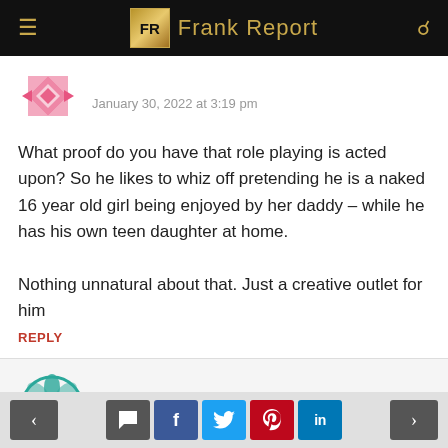Frank Report
January 30, 2022 at 3:19 pm
What proof do you have that role playing is acted upon? So he likes to whiz off pretending he is a naked 16 year old girl being enjoyed by her daddy – while he has his own teen daughter at home.

Nothing unnatural about that. Just a creative outlet for him
REPLY
Anonymous
May 16, 2022 at 12:51 pm
< >